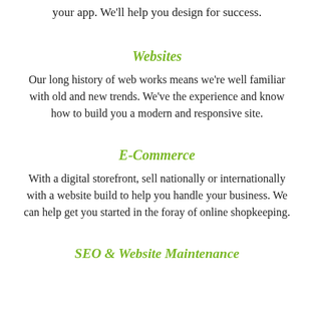your app. We'll help you design for success.
Websites
Our long history of web works means we're well familiar with old and new trends. We've the experience and know how to build you a modern and responsive site.
E-Commerce
With a digital storefront, sell nationally or internationally with a website build to help you handle your business. We can help get you started in the foray of online shopkeeping.
SEO & Website Maintenance